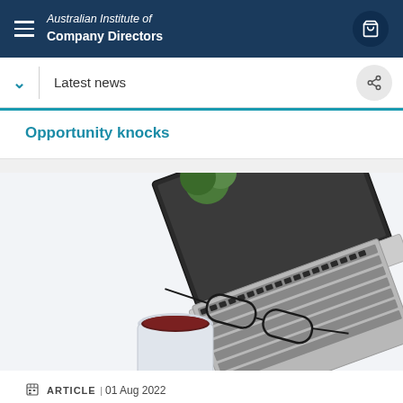Australian Institute of Company Directors
Latest news
Opportunity knocks
[Figure (photo): Overhead flat-lay photo of a laptop keyboard, reading glasses, a cup of dark coffee, and a small green plant on a white desk surface.]
ARTICLE | 01 Aug 2022
Best interests duty